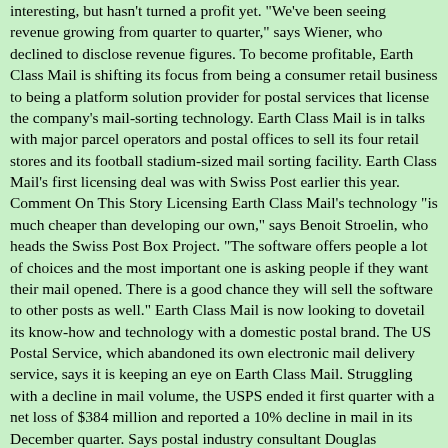interesting, but hasn't turned a profit yet. "We've been seeing revenue growing from quarter to quarter," says Wiener, who declined to disclose revenue figures. To become profitable, Earth Class Mail is shifting its focus from being a consumer retail business to being a platform solution provider for postal services that license the company's mail-sorting technology. Earth Class Mail is in talks with major parcel operators and postal offices to sell its four retail stores and its football stadium-sized mail sorting facility. Earth Class Mail's first licensing deal was with Swiss Post earlier this year. Comment On This Story Licensing Earth Class Mail's technology "is much cheaper than developing our own," says Benoit Stroelin, who heads the Swiss Post Box Project. "The software offers people a lot of choices and the most important one is asking people if they want their mail opened. There is a good chance they will sell the software to other posts as well." Earth Class Mail is now looking to dovetail its know-how and technology with a domestic postal brand. The US Postal Service, which abandoned its own electronic mail delivery service, says it is keeping an eye on Earth Class Mail. Struggling with a decline in mail volume, the USPS ended it first quarter with a net loss of $384 million and reported a 10% decline in mail in its December quarter. Says postal industry consultant Douglas Caldwell, "Their business is a unique combination of e-commerce and software that can integrate with hard copies, and it's very scalable."